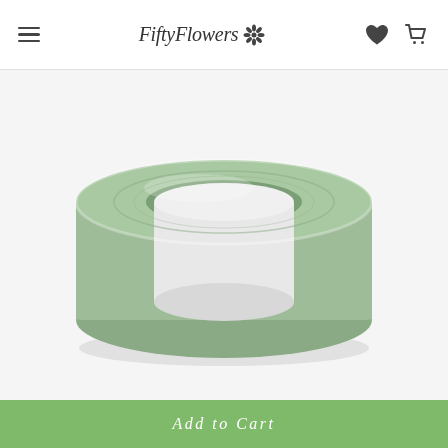FiftyFlowers
[Figure (photo): A roll of light sage green floral tape shown at an angle on a white background. The tape is wound into a flat disc shape with a white paper core visible in the center.]
Add to Cart